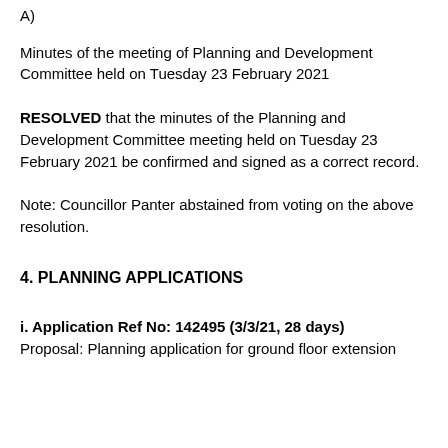A)
Minutes of the meeting of Planning and Development Committee held on Tuesday 23 February 2021
RESOLVED that the minutes of the Planning and Development Committee meeting held on Tuesday 23 February 2021 be confirmed and signed as a correct record.
Note: Councillor Panter abstained from voting on the above resolution.
4. PLANNING APPLICATIONS
i. Application Ref No: 142495 (3/3/21, 28 days)
Proposal: Planning application for ground floor extension